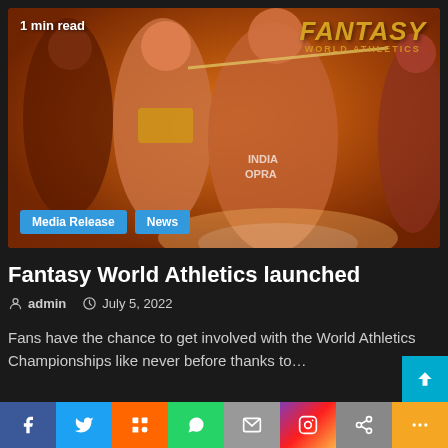[Figure (photo): Fantasy World Athletics promotional image showing athletes including a javelin thrower and sprinters on an orange background. Text overlay '1 min read' top left and 'FANTASY WORLD ATHLETICS' logo top right. Tags 'Media Release' and 'News' at bottom left.]
Fantasy World Athletics launched
admin   July 5, 2022
Fans have the chance to get involved with the World Athletics Championships like never before thanks to…